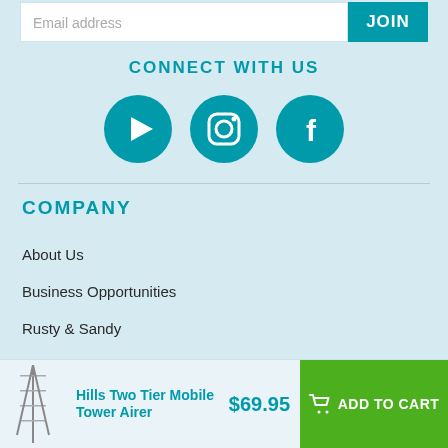Email address
JOIN
CONNECT WITH US
[Figure (illustration): Three teal circular social media icon buttons: YouTube, Instagram, Facebook]
COMPANY
About Us
Business Opportunities
Rusty & Sandy
Careers
Hills Two Tier Mobile Tower Airer
$69.95
ADD TO CART